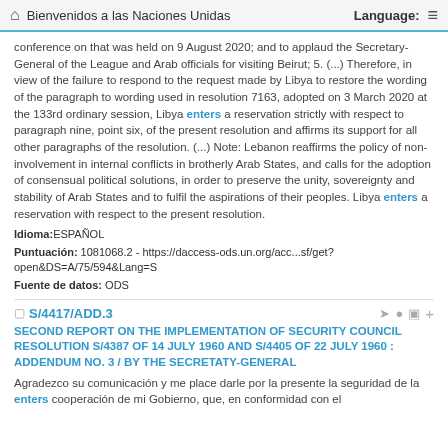Bienvenidos a las Naciones Unidas    Language:
conference on that was held on 9 August 2020; and to applaud the Secretary- General of the League and Arab officials for visiting Beirut; 5. (...) Therefore, in view of the failure to respond to the request made by Libya to restore the wording of the paragraph to wording used in resolution 7163, adopted on 3 March 2020 at the 133rd ordinary session, Libya enters a reservation strictly with respect to paragraph nine, point six, of the present resolution and affirms its support for all other paragraphs of the resolution. (...) Note: Lebanon reaffirms the policy of non-involvement in internal conflicts in brotherly Arab States, and calls for the adoption of consensual political solutions, in order to preserve the unity, sovereignty and stability of Arab States and to fulfil the aspirations of their peoples. Libya enters a reservation with respect to the present resolution.
Idioma:ESPAÑOL
Puntuación: 1081068.2 - https://daccess-ods.un.org/acc...sf/get?open&DS=A/75/594&Lang=S
Fuente de datos: ODS
S/4417/ADD.3
SECOND REPORT ON THE IMPLEMENTATION OF SECURITY COUNCIL RESOLUTION S/4387 OF 14 JULY 1960 AND S/4405 OF 22 JULY 1960 : ADDENDUM NO. 3 / BY THE SECRETATY-GENERAL
Agradezco su comunicación y me place darle por la presente la seguridad de la enters cooperación de mi Gobierno, que, en conformidad con el